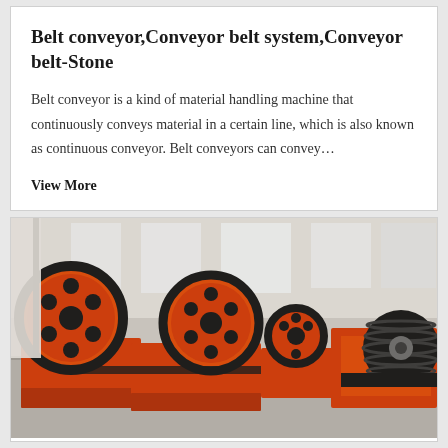Belt conveyor,Conveyor belt system,Conveyor belt-Stone
Belt conveyor is a kind of material handling machine that continuously conveys material in a certain line, which is also known as continuous conveyor. Belt conveyors can convey…
View More
[Figure (photo): Industrial jaw crusher machines painted in orange with large black flywheels/pulleys arranged in a factory or warehouse setting. Multiple crusher units visible with belt pulleys in foreground.]